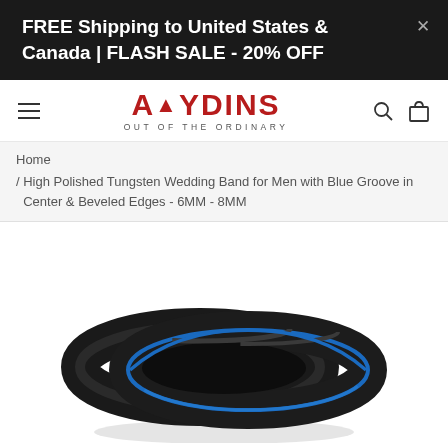FREE Shipping to United States & Canada | FLASH SALE - 20% OFF
[Figure (logo): Aydins Jewelry logo with red text and tagline 'OUT OF THE ORDINARY']
Home
/ High Polished Tungsten Wedding Band for Men with Blue Groove in Center & Beveled Edges - 6MM - 8MM
[Figure (photo): Two black tungsten wedding rings with a blue groove in the center, showing beveled edges, photographed from above on a white background]